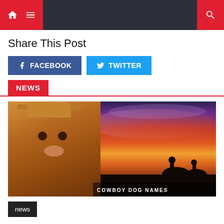Navigation bar with home, menu, and search icons
Share This Post
f FACEBOOK   y TWITTER
NEWS
[Figure (photo): A dog wearing a cowboy hat on the left, with a cowboy sunset scene showing horse riders silhouetted against a dramatic orange and purple sky. Text at the bottom reads 'COWBOY DOG NAMES']
news